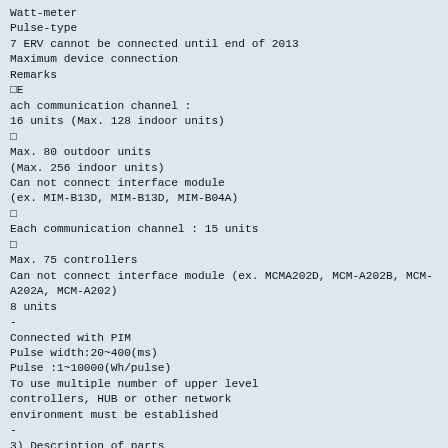Watt-meter
Pulse-type
7 ERV cannot be connected until end of 2013
Maximum device connection
Remarks
□E
ach communication channel :
16 units (Max. 128 indoor units)
□
Max. 80 outdoor units
(Max. 256 indoor units)
Can not connect interface module
(ex. MIM-B13D, MIM-B13D, MIM-B04A)
□
Each communication channel : 15 units
□
Max. 75 controllers
Can not connect interface module (ex. MCMA202D, MCM-A202B, MCM-A202A, MCM-A202)
8 units
-
Connected with PIM
Pulse width:20~400(ms)
Pulse :1~10000(Wh/pulse)
To use multiple number of upper level
controllers, HUB or other network
environment must be established
-
3) Description of parts
Front
No
Function
Name